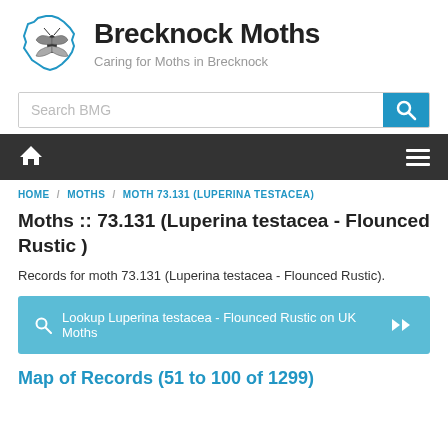[Figure (logo): Brecknock Moths logo: a moth illustration inside a blue outlined county map shape]
Brecknock Moths
Caring for Moths in Brecknock
Search BMG
HOME / MOTHS / MOTH 73.131 (LUPERINA TESTACEA)
Moths :: 73.131 (Luperina testacea - Flounced Rustic )
Records for moth 73.131 (Luperina testacea - Flounced Rustic).
Lookup Luperina testacea - Flounced Rustic on UK Moths
Map of Records (51 to 100 of 1299)